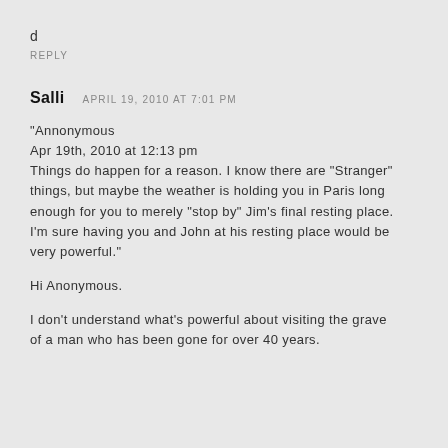d
REPLY
Salli   APRIL 19, 2010 AT 7:01 PM
“Annonymous
Apr 19th, 2010 at 12:13 pm
Things do happen for a reason. I know there are “Stranger” things, but maybe the weather is holding you in Paris long enough for you to merely “stop by” Jim’s final resting place. I’m sure having you and John at his resting place would be very powerful.”

Hi Anonymous.

I don’t understand what’s powerful about visiting the grave of a man who has been gone for over 40 years.